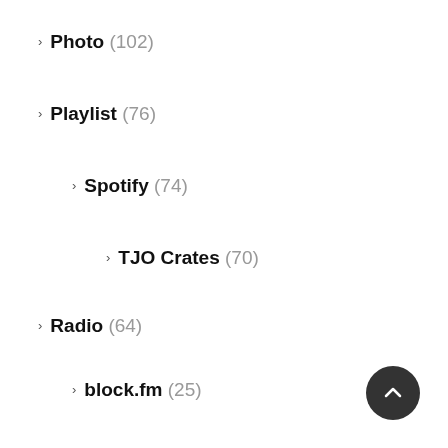Photo (102)
Playlist (76)
Spotify (74)
TJO Crates (70)
Radio (64)
block.fm (25)
J-WAVE (3)
prime847 (17)
Release (14)
SoulZ Sonds (7)
Report (81)